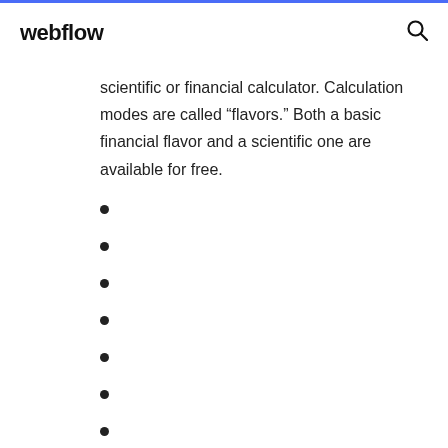webflow
scientific or financial calculator. Calculation modes are called “flavors.” Both a basic financial flavor and a scientific one are available for free.